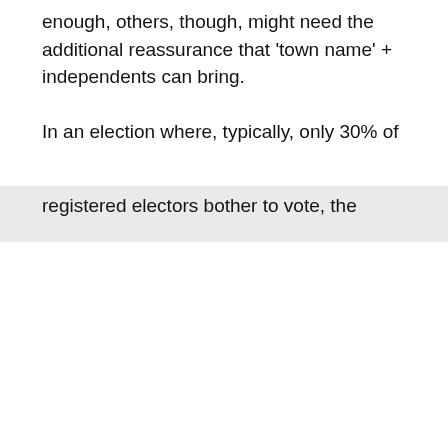enough, others, though, might need the additional reassurance that ‘town name’ + independents can bring.
In an election where, typically, only 30% of registered electors bother to vote, the
Powered by Termly
We use cookies to improve user experience and analyze website traffic. By clicking “Accept,” you agree to our website’s cookie use as described in our Cookie Policy. You can change your cookie settings at any time by clicking “Preferences.”
DECLINE
ACCEPT
PREFERENCES